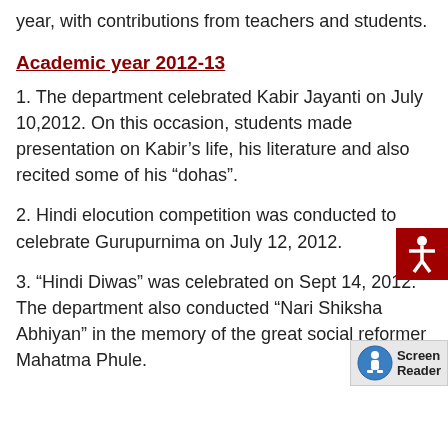year, with contributions from teachers and students.
Academic year 2012-13
1. The department celebrated Kabir Jayanti on July 10,2012. On this occasion, students made presentation on Kabir’s life, his literature and also recited some of his “dohas”.
2. Hindi elocution competition was conducted to celebrate Gurupurnima on July 12, 2012.
3. “Hindi Diwas” was celebrated on Sept 14, 2012. The department also conducted “Nari Shiksha Abhiyan” in the memory of the great social reformer Mahatma Phule.